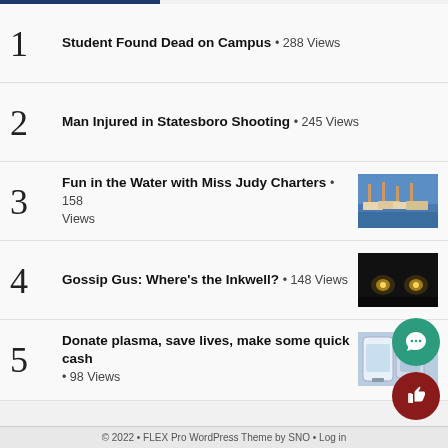1 • Student Found Dead on Campus • 288 Views
2 • Man Injured in Statesboro Shooting • 245 Views
3 • Fun in the Water with Miss Judy Charters • 158 Views
4 • Gossip Gus: Where's the Inkwell? • 148 Views
5 • Donate plasma, save lives, make some quick cash • 98 Views
© 2022 • FLEX Pro WordPress Theme by SNO • Log in